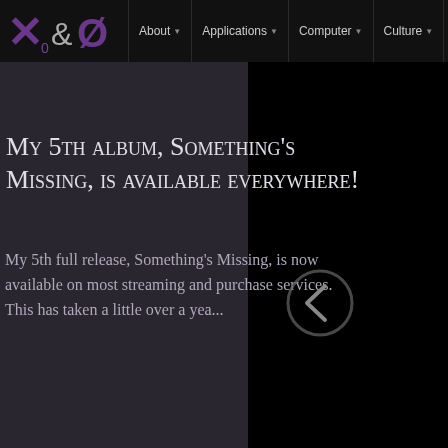About  Applications  Computer  Culture  Site
My 5th album, Something's Missing, is available everywhere!
My 5th full release, Something's Missing, is now available on most streaming and purchase services. This has taken a little over a yea...
READ MORE »
1  2  3  4  5  6  7  8  ...  20  30  40  ...  »  87